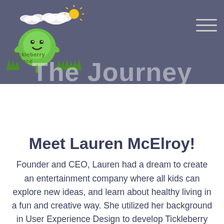[Figure (logo): Tickleberry Place logo — a cartoon green character with a smiley face standing on grass with clouds and a sun, with the text 'Tickleberry Place' in green lettering]
The Journey
Meet Lauren McElroy!
Founder and CEO, Lauren had a dream to create an entertainment company where all kids can explore new ideas, and learn about healthy living in a fun and creative way. She utilized her background in User Experience Design to develop Tickleberry Place, which began as a family entertainment center in her home town of South LA